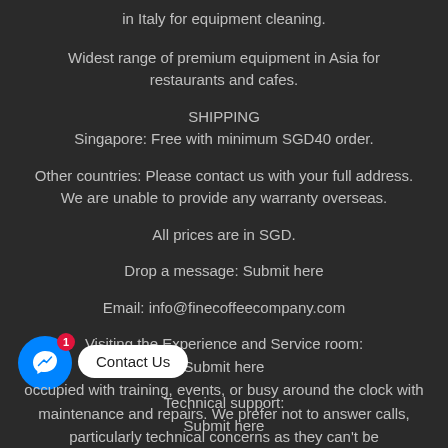in Italy for equipment cleaning.
Widest range of premium equipment in Asia for restaurants and cafes.
SHIPPING
Singapore: Free with minimum SGD40 order.
Other countries: Please contact us with your full address. We are unable to provide any warranty overseas.
All prices are in SGD.
Drop a message: Submit here
Email: info@finecoffeecompany.com
Visiting the Experience and Service room:
Submit here
Technical support:
Submit here
[Figure (other): Facebook Messenger chat button with red badge showing '1' and 'Contact Us' speech bubble tooltip]
occupied with training, events, or busy around the clock with maintenance and repairs. We prefer not to answer calls, particularly technical concerns as they can't be